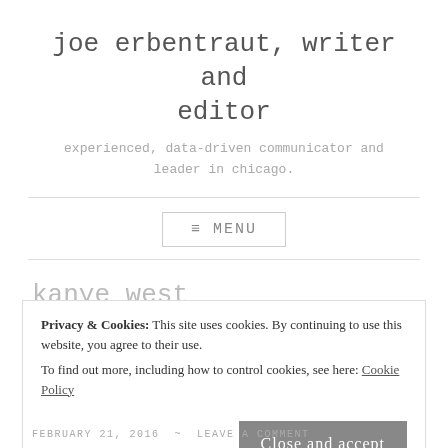joe erbentraut, writer and editor
experienced, data-driven communicator and leader in chicago.
≡ MENU
kanye west
Privacy & Cookies: This site uses cookies. By continuing to use this website, you agree to their use.
To find out more, including how to control cookies, see here: Cookie Policy
Close and accept
FEBRUARY 21, 2016 ~ LEAVE A COMMENT